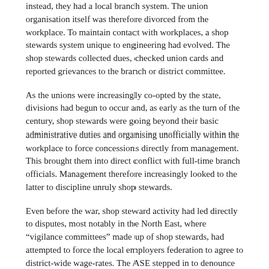instead, they had a local branch system. The union organisation itself was therefore divorced from the workplace. To maintain contact with workplaces, a shop stewards system unique to engineering had evolved. The shop stewards collected dues, checked union cards and reported grievances to the branch or district committee.
As the unions were increasingly co-opted by the state, divisions had begun to occur and, as early as the turn of the century, shop stewards were going beyond their basic administrative duties and organising unofficially within the workplace to force concessions directly from management. This brought them into direct conflict with full-time branch officials. Management therefore increasingly looked to the latter to discipline unruly shop stewards.
Even before the war, shop steward activity had led directly to disputes, most notably in the North East, where “vigilance committees” made up of shop stewards, had attempted to force the local employers federation to agree to district-wide wage-rates. The ASE stepped in to denounce the strike action and full-time branch officials joined forces with management against the shop stewards and rank and file workers.